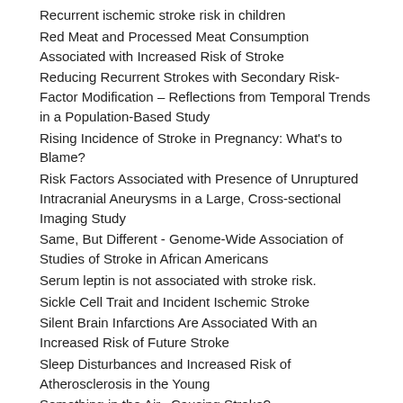Recurrent ischemic stroke risk in children
Red Meat and Processed Meat Consumption Associated with Increased Risk of Stroke
Reducing Recurrent Strokes with Secondary Risk-Factor Modification – Reflections from Temporal Trends in a Population-Based Study
Rising Incidence of Stroke in Pregnancy: What's to Blame?
Risk Factors Associated with Presence of Unruptured Intracranial Aneurysms in a Large, Cross-sectional Imaging Study
Same, But Different - Genome-Wide Association of Studies of Stroke in African Americans
Serum leptin is not associated with stroke risk.
Sickle Cell Trait and Incident Ischemic Stroke
Silent Brain Infarctions Are Associated With an Increased Risk of Future Stroke
Sleep Disturbances and Increased Risk of Atherosclerosis in the Young
Something in the Air...Causing Stroke?
Statins and Intracerebral Hemorrhage – Causation or Coincidence?
Stroke after a Heart Attack – A double whammy
Stroke and uncontrolled risk factors in Sri Lanka, a sample of the urban developing world
Stroke in Paradise: Implementing and Evaluating Prevention in a Afro-Caribbean Population in Martinique
Stroke Incidence Along Ethnic Lines in the Netherlands